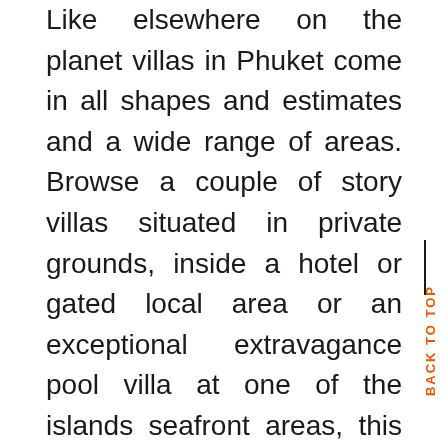Like elsewhere on the planet villas in Phuket come in all shapes and estimates and a wide range of areas. Browse a couple of story villas situated in private grounds, inside a hotel or gated local area or an exceptional extravagance pool villa at one of the islands seafront areas, this decision obviously will be reflected in the cost.

Villas on hotels or inside private gated local area may have private or shared offices and most offer the administrations of master the board organizations guaranteeing the worth of your villa stays at its best.

The tremendous decision in luxury private pool villas phuket implies that regardless of what your